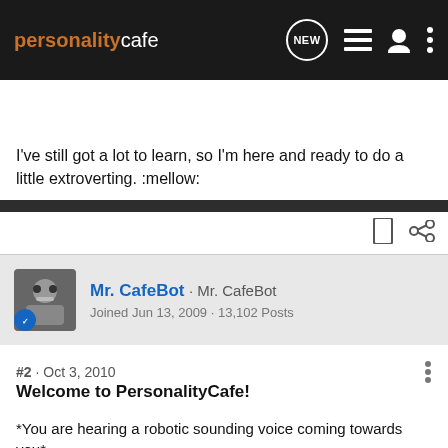personalitycafe — Search Community
I've still got a lot to learn, so I'm here and ready to do a little extroverting. :mellow:
Mr. CafeBot · Mr. CafeBot
Joined Jun 13, 2009 · 13,102 Posts
#2 · Oct 3, 2010
Welcome to PersonalityCafe!
*You are hearing a robotic sounding voice coming towards you*